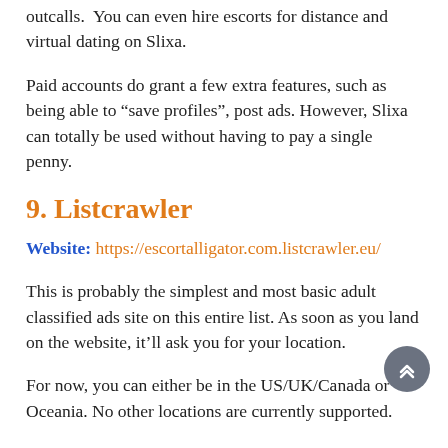outcalls.  You can even hire escorts for distance and virtual dating on Slixa.
Paid accounts do grant a few extra features, such as being able to “save profiles”, post ads. However, Slixa can totally be used without having to pay a single penny.
9. Listcrawler
Website: https://escortalligator.com.listcrawler.eu/
This is probably the simplest and most basic adult classified ads site on this entire list. As soon as you land on the website, it’ll ask you for your location.
For now, you can either be in the US/UK/Canada or Oceania. No other locations are currently supported.
Then you’d have to choose your state and city.